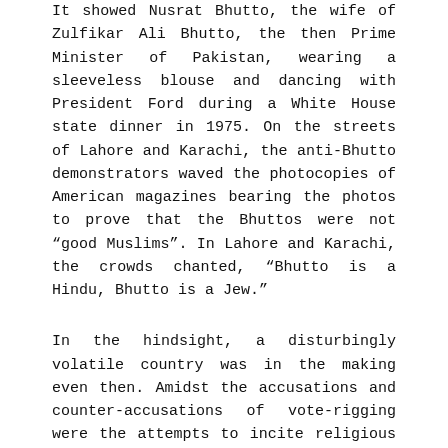It showed Nusrat Bhutto, the wife of Zulfikar Ali Bhutto, the then Prime Minister of Pakistan, wearing a sleeveless blouse and dancing with President Ford during a White House state dinner in 1975. On the streets of Lahore and Karachi, the anti-Bhutto demonstrators waved the photocopies of American magazines bearing the photos to prove that the Bhuttos were not “good Muslims”. In Lahore and Karachi, the crowds chanted, “Bhutto is a Hindu, Bhutto is a Jew.”
In the hindsight, a disturbingly volatile country was in the making even then. Amidst the accusations and counter-accusations of vote-rigging were the attempts to incite religious and racial divisions. The women policemen were labelled prostitutes in a series of protests marked by virulent anti-woman propaganda, also targeted towards Zulfikar’s wife